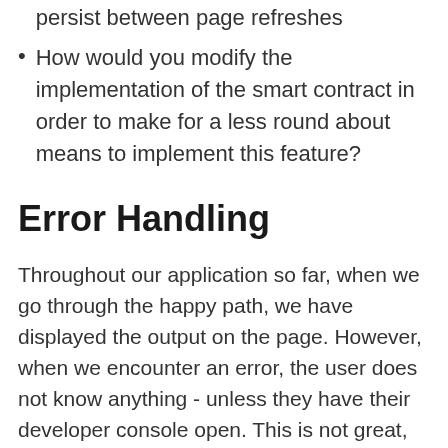persist between page refreshes
How would you modify the implementation of the smart contract in order to make for a less round about means to implement this feature?
Error Handling
Throughout our application so far, when we go through the happy path, we have displayed the output on the page. However, when we encounter an error, the user does not know anything - unless they have their developer console open. This is not great, obviously, as most users are not developers, and will need some indication displayed in the page itself when errors do occur.
Hints: